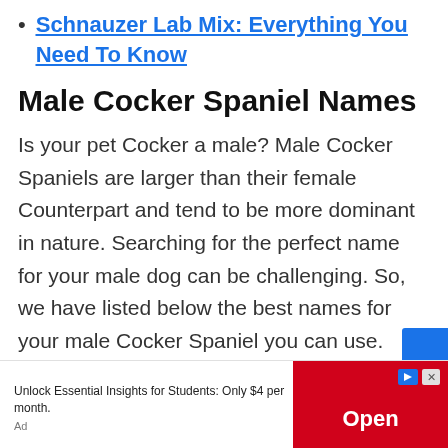Schnauzer Lab Mix: Everything You Need To Know
Male Cocker Spaniel Names
Is your pet Cocker a male? Male Cocker Spaniels are larger than their female Counterpart and tend to be more dominant in nature. Searching for the perfect name for your male dog can be challenging. So, we have listed below the best names for your male Cocker Spaniel you can use.
[Figure (other): Advertisement banner: Unlock Essential Insights for Students: Only $4 per month. Open button. Ad label.]